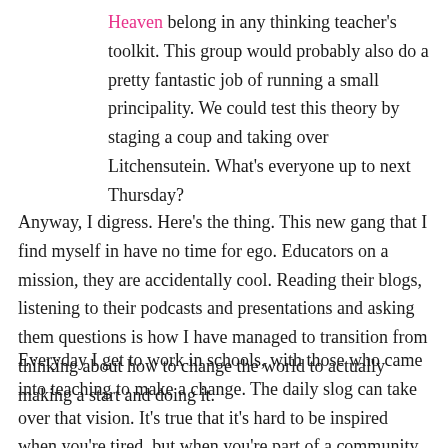Heaven belong in any thinking teacher's toolkit. This group would probably also do a pretty fantastic job of running a small principality. We could test this theory by staging a coup and taking over Litchensutein. What's everyone up to next Thursday?
Anyway, I digress. Here's the thing. This new gang that I find myself in have no time for ego. Educators on a mission, they are accidentally cool. Reading their blogs, listening to their podcasts and presentations and asking them questions is how I have managed to transition from thinking about how to change the world to actually making a start and doing it.
Everyday I get to work in schools, with those who came into teaching to make a change. The daily slog can take over that vision. It's true that it's hard to be inspired when you're tired, but when you're part of a community as